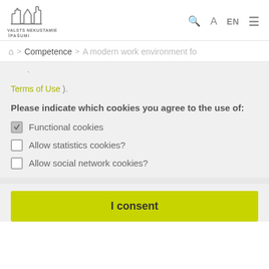[Figure (logo): Valsts Nekustamie Īpašumi building/castle logo with text VALSTS NEKUSTAMIE ĪPAŠUMI]
Q  A  EN  ≡
🏠 > Competence > A modern work environment fo
Terms of Use ).
Please indicate which cookies you agree to the use of:
☑ Functional cookies
☐ Allow statistics cookies?
☐ Allow social network cookies?
I consent